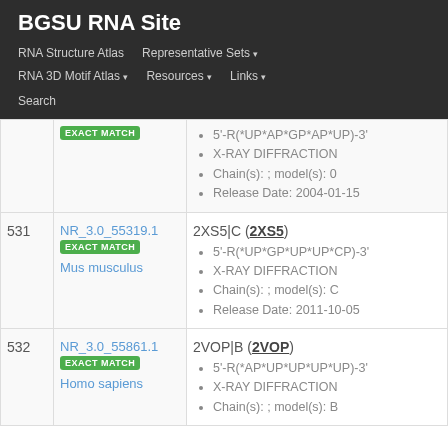BGSU RNA Site
RNA Structure Atlas | Representative Sets | RNA 3D Motif Atlas | Resources | Links | Search
| # | ID / Match | Structure Details |
| --- | --- | --- |
|  | EXACT MATCH | 5'-R(*UP*AP*GP*AP*UP)-3' | X-RAY DIFFRACTION | Chain(s): ; model(s): 0 | Release Date: 2004-01-15 |
| 531 | NR_3.0_55319.1 | EXACT MATCH | Mus musculus | 2XS5|C (2XS5) | 5'-R(*UP*GP*UP*UP*CP)-3' | X-RAY DIFFRACTION | Chain(s): ; model(s): C | Release Date: 2011-10-05 |
| 532 | NR_3.0_55861.1 | EXACT MATCH | Homo sapiens | 2VOP|B (2VOP) | 5'-R(*AP*UP*UP*UP*UP)-3' | X-RAY DIFFRACTION | Chain(s): ; model(s): B |